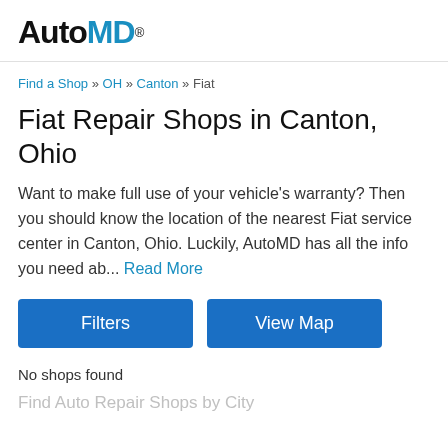AutoMD
Find a Shop » OH » Canton » Fiat
Fiat Repair Shops in Canton, Ohio
Want to make full use of your vehicle's warranty? Then you should know the location of the nearest Fiat service center in Canton, Ohio. Luckily, AutoMD has all the info you need ab... Read More
Filters
View Map
No shops found
Find Auto Repair Shops by City